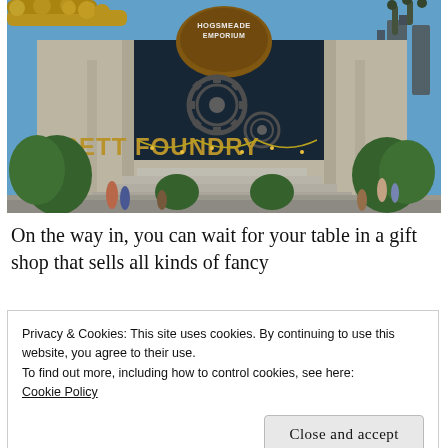[Figure (photo): Exterior photo of a steampunk-themed building with gold pipes and gear decorations, signs reading 'HOGSMEADE EMPORIUM' and 'SSETT FOUNDRY', blue sky background, people walking on steps and path in front of the building.]
On the way in, you can wait for your table in a gift shop that sells all kinds of fancy
Privacy & Cookies: This site uses cookies. By continuing to use this website, you agree to their use.
To find out more, including how to control cookies, see here:
Cookie Policy
Close and accept